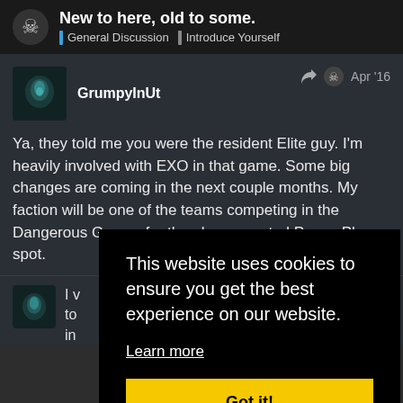New to here, old to some. | General Discussion | Introduce Yourself
GrumpyInUt  Apr '16
Ya, they told me you were the resident Elite guy. I'm heavily involved with EXO in that game. Some big changes are coming in the next couple months. My faction will be one of the teams competing in the Dangerous Games for the player created Power Play spot.
This website uses cookies to ensure you get the best experience on our website. Learn more  Got it!